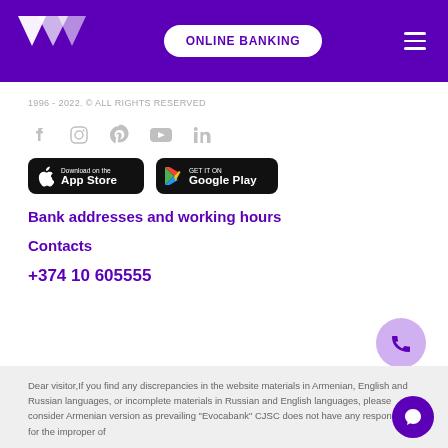ONLINE BANKING
1996 - 2022. © ALL RIGHTS RESERVED
[Figure (other): Social media icons: Facebook, Instagram, Pinterest, YouTube, LinkedIn]
[Figure (other): Download on the App Store button]
[Figure (other): Get it on Google Play button]
Bank addresses and working hours
Contacts
+374 10 605555
Dear visitor,If you find any discrepancies in the website materials in Armenian, English and Russian languages, or incomplete materials in Russian and English languages, please consider Armenian version as prevailing "Evocabank" CJSC does not have any responsibility for the improper of